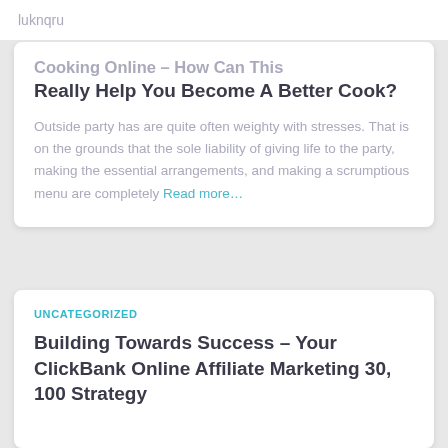luknqru
Cooking Online – How Can This Really Help You Become A Better Cook?
Outside party has are quite often weighty with stresses. That is on the grounds that the sole liability of giving life to the party, making the essential arrangements, and making a scrumptious menu are completely Read more…
UNCATEGORIZED
Building Towards Success – Your ClickBank Online Affiliate Marketing 30, 100 Strategy